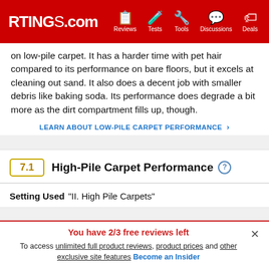RTINGS.com | Reviews | Tests | Tools | Discussions | Deals
on low-pile carpet. It has a harder time with pet hair compared to its performance on bare floors, but it excels at cleaning out sand. It also does a decent job with smaller debris like baking soda. Its performance does degrade a bit more as the dirt compartment fills up, though.
LEARN ABOUT LOW-PILE CARPET PERFORMANCE >
7.1 High-Pile Carpet Performance
Setting Used "II. High Pile Carpets"
You have 2/3 free reviews left
To access unlimited full product reviews, product prices and other exclusive site features Become an Insider